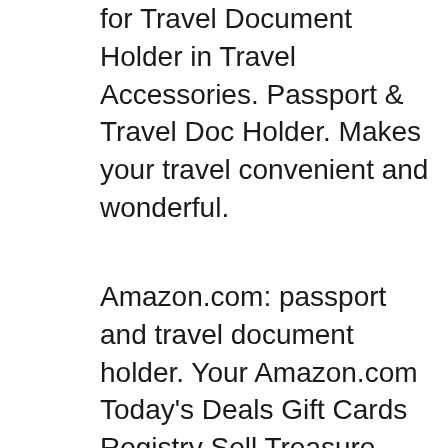for Travel Document Holder in Travel Accessories. Passport & Travel Doc Holder. Makes your travel convenient and wonderful.
Amazon.com: passport and travel document holder. Your Amazon.com Today's Deals Gift Cards Registry Sell Treasure Truck Help Disability Customer Support Style98 Unisex Leather Travel Passport Cover / Document Holder Cum Cheque Holder For 3 Passports - Brown: Amazon.in: Shoes & Handbags
Your passport is the most important travel document you have, which means protecting it should be your number one priority when youвЂ™re on